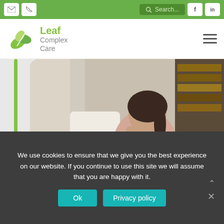Leaf Complex Care website header with email icon, phone icon, search bar, Facebook and LinkedIn icons
[Figure (logo): Leaf Complex Care logo with green leaf graphic and company name]
[Figure (photo): Woman sitting on couch with laptop, looking thoughtfully to the side, in a bright living room]
We use cookies to ensure that we give you the best experience on our website. If you continue to use this site we will assume that you are happy with it.
Ok   Privacy policy